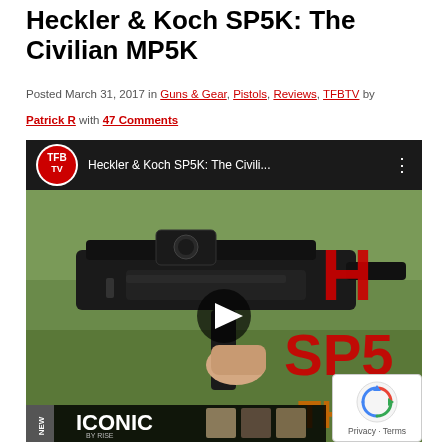Heckler & Koch SP5K: The Civilian MP5K
Posted March 31, 2017 in Guns & Gear, Pistols, Reviews, TFBTV by Patrick R with 47 Comments
[Figure (screenshot): YouTube video thumbnail for 'Heckler & Koch SP5K: The Civili...' showing a TFB TV logo on a dark top bar with three-dot menu, and a video thumbnail of an HK SP5K pistol being held, with red and orange text overlay reading 'H SP5' and 'THE', plus an 'ICONIC by RISE' advertisement banner at the bottom. A play button is visible in the center.]